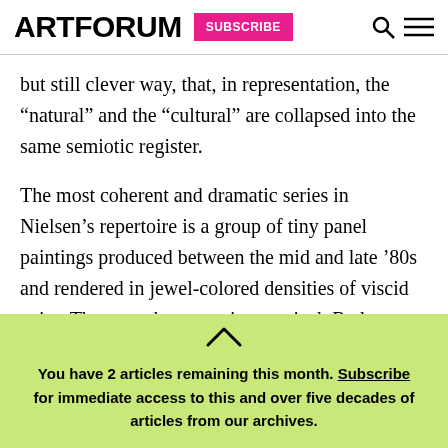ARTFORUM | SUBSCRIBE
but still clever way, that, in representation, the “natural” and the “cultural” are collapsed into the same semiotic register.
The most coherent and dramatic series in Nielsen’s repertoire is a group of tiny panel paintings produced between the mid and late ‘80s and rendered in jewel-colored densities of viscid paint. These works are eerie, mystical, Ryder-esque outdoor scenes transported into the realm of
You have 2 articles remaining this month. Subscribe for immediate access to this and over five decades of articles from our archives.